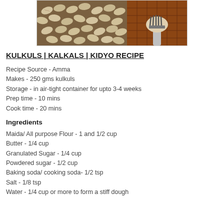[Figure (photo): Two photos side by side: left shows kulkuls/kalkals (ridged shell-shaped fried cookies) on a dark surface, right shows a fork being used to shape dough on a brown grid surface.]
KULKULS | KALKALS | KIDYO RECIPE
Recipe Source - Amma
Makes - 250 gms kulkuls
Storage - in air-tight container for upto 3-4 weeks
Prep time - 10 mins
Cook time - 20 mins
Ingredients
Maida/ All purpose Flour - 1 and 1/2 cup
Butter - 1/4 cup
Granulated Sugar - 1/4 cup
Powdered sugar - 1/2 cup
Baking soda/ cooking soda- 1/2 tsp
Salt - 1/8 tsp
Water - 1/4 cup or more to form a stiff dough